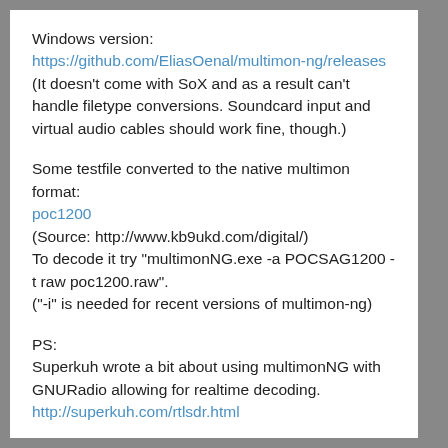Windows version:
https://github.com/EliasOenal/multimon-ng/releases
(It doesn't come with SoX and as a result can't handle filetype conversions. Soundcard input and virtual audio cables should work fine, though.)
Some testfile converted to the native multimon format:
poc1200
(Source: http://www.kb9ukd.com/digital/)
To decode it try "multimonNG.exe -a POCSAG1200 -t raw poc1200.raw".
("-i" is needed for recent versions of multimon-ng)
PS:
Superkuh wrote a bit about using multimonNG with GNURadio allowing for realtime decoding.
http://superkuh.com/rtlsdr.html